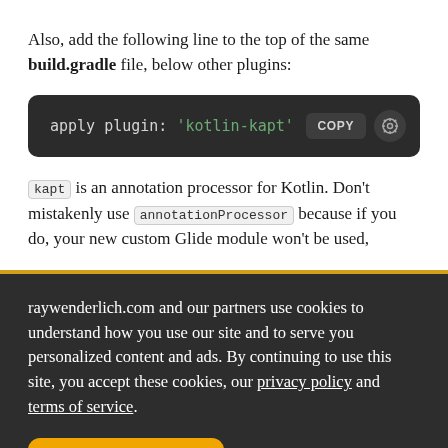Also, add the following line to the top of the same build.gradle file, below other plugins:
[Figure (screenshot): Code block showing: apply plugin: 'kotlin-kapt' with COPY button and settings icon on dark background]
kapt is an annotation processor for Kotlin. Don't mistakenly use annotationProcessor because if you do, your new custom Glide module won't be used,
raywenderlich.com and our partners use cookies to understand how you use our site and to serve you personalized content and ads. By continuing to use this site, you accept these cookies, our privacy policy and terms of service.
OK ✓   Manage privacy settings